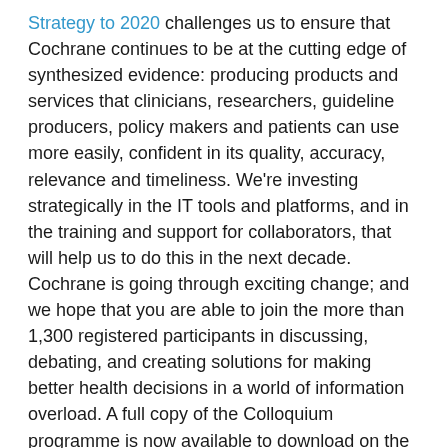Strategy to 2020 challenges us to ensure that Cochrane continues to be at the cutting edge of synthesized evidence: producing products and services that clinicians, researchers, guideline producers, policy makers and patients can use more easily, confident in its quality, accuracy, relevance and timeliness. We're investing strategically in the IT tools and platforms, and in the training and support for collaborators, that will help us to do this in the next decade. Cochrane is going through exciting change; and we hope that you are able to join the more than 1,300 registered participants in discussing, debating, and creating solutions for making better health decisions in a world of information overload. A full copy of the Colloquium programme is now available to download on the website. Make sure you use your online Colloquium account to sign-up for sessions, meetings, and events. This year we are offering more than 600 workshops, oral sessions, and posters, as well as hosting 110 business meetings for Cochrane Groups and other contributors.
Bis bald!